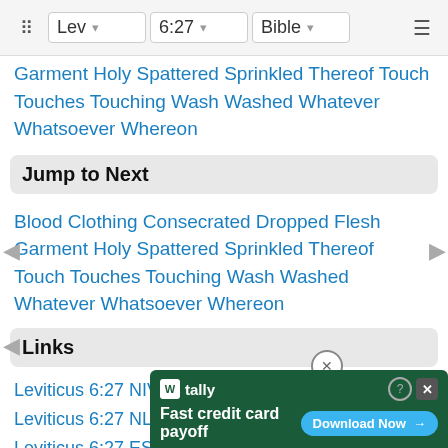Lev | 6:27 | Bible
Garment Holy Spattered Sprinkled Thereof Touch Touches Touching Wash Washed Whatever Whatsoever Whereon
Jump to Next
Blood Clothing Consecrated Dropped Flesh Garment Holy Spattered Sprinkled Thereof Touch Touches Touching Wash Washed Whatever Whatsoever Whereon
Links
Leviticus 6:27 NIV
Leviticus 6:27 NLT
Leviticus 6:27 ESV
Leviticus 6:27 NASB
Leviti...
Leviti...